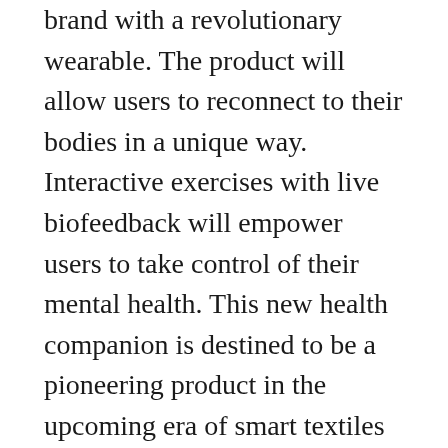brand with a revolutionary wearable. The product will allow users to reconnect to their bodies in a unique way. Interactive exercises with live biofeedback will empower users to take control of their mental health. This new health companion is destined to be a pioneering product in the upcoming era of smart textiles and healthcare wearables, which has been so far dominated by products like the Apple Watch, FitBit, and Whoop.
The financing round is led by Capnamic Ventures alongside institutional investors such as ZKB, Verve Ventures, and a high-profile angel group including Michael Halbherr, ex-CEO of Here, and Oliver Pabst, ex-CEO of Mammut.